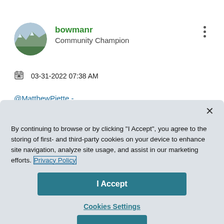[Figure (photo): Circular avatar image of a mountain landscape]
bowmanr
Community Champion
03-31-2022 07:38 AM
@MatthewPiette -
By continuing to browse or by clicking "I Accept", you agree to the storing of first- and third-party cookies on your device to enhance site navigation, analyze site usage, and assist in our marketing efforts. Privacy Policy
I Accept
Cookies Settings